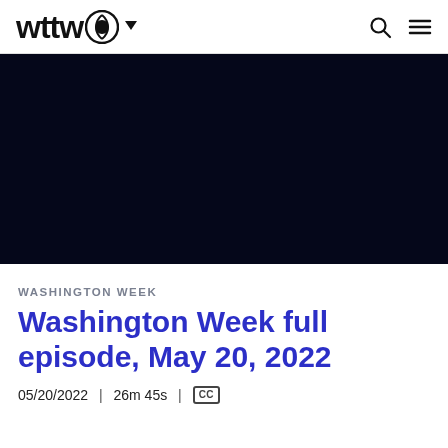wttw [logo with PBS icon and dropdown arrow] [search icon] [menu icon]
[Figure (screenshot): Black video player area]
WASHINGTON WEEK
Washington Week full episode, May 20, 2022
05/20/2022 | 26m 45s | [CC]